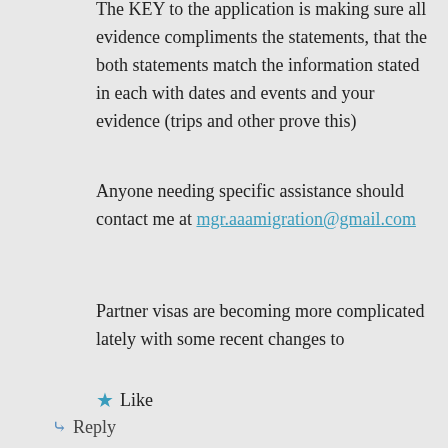The KEY to the application is making sure all evidence compliments the statements, that the both statements match the information stated in each with dates and events and your evidence (trips and other prove this)
Anyone needing specific assistance should contact me at mgr.aaamigration@gmail.com
Partner visas are becoming more complicated lately with some recent changes to
Like
Reply